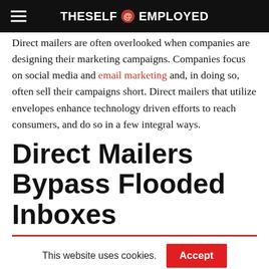THE SELF EMPLOYED
Direct mailers are often overlooked when companies are designing their marketing campaigns. Companies focus on social media and email marketing and, in doing so, often sell their campaigns short. Direct mailers that utilize envelopes enhance technology driven efforts to reach consumers, and do so in a few integral ways.
Direct Mailers Bypass Flooded Inboxes
This website uses cookies.
Accept
[Figure (infographic): Social sharing buttons: Facebook (blue), Twitter (light blue), Email (black), Pinterest (red), LinkedIn (blue)]